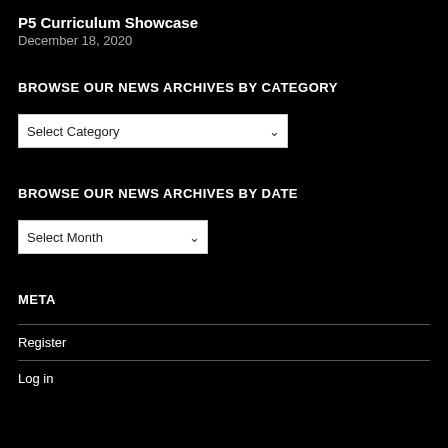P5 Curriculum Showcase
December 18, 2020
BROWSE OUR NEWS ARCHIVES BY CATEGORY
Select Category
BROWSE OUR NEWS ARCHIVES BY DATE
Select Month
META
Register
Log in